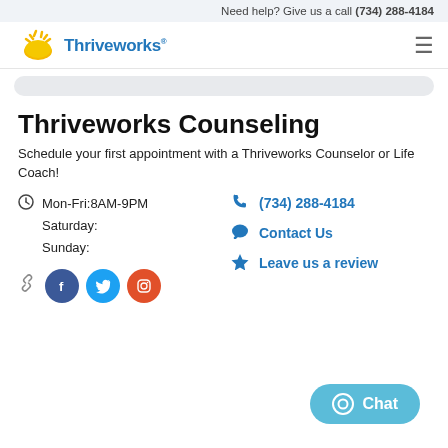Need help? Give us a call (734) 288-4184
[Figure (logo): Thriveworks logo with sun/rays graphic and blue text]
Thriveworks Counseling
Schedule your first appointment with a Thriveworks Counselor or Life Coach!
Mon-Fri:8AM-9PM
Saturday:
Sunday:
(734) 288-4184
Contact Us
Leave us a review
[Figure (infographic): Social media icons: chain link, Facebook (blue circle with f), Twitter (blue circle with bird), Instagram (red circle with camera)]
Chat